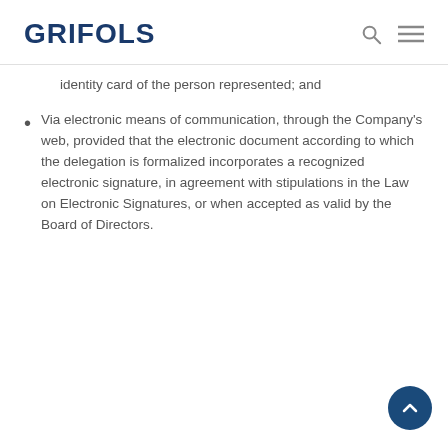GRIFOLS
identity card of the person represented; and
Via electronic means of communication, through the Company's web, provided that the electronic document according to which the delegation is formalized incorporates a recognized electronic signature, in agreement with stipulations in the Law on Electronic Signatures, or when accepted as valid by the Board of Directors.